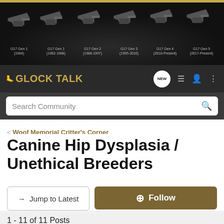[Figure (screenshot): Glock Talk forum banner showing 6 Glock G17 pistol generations from 1984 to present on black background]
GLOCK TALK
Search Community
< Woof Memorial Critter's Corner
Canine Hip Dysplasia / Unethical Breeders
→ Jump to Latest
+ Follow
1 - 11 of 11 Posts